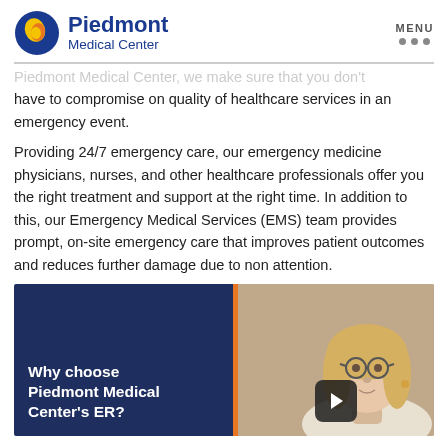Piedmont Medical Center — MENU
Piedmont Medical Center, we make sure that you don't have to compromise on quality of healthcare services in an emergency event.
Providing 24/7 emergency care, our emergency medicine physicians, nurses, and other healthcare professionals offer you the right treatment and support at the right time. In addition to this, our Emergency Medical Services (EMS) team provides prompt, on-site emergency care that improves patient outcomes and reduces further damage due to non attention.
[Figure (screenshot): Video thumbnail with dark blue background showing 'Why choose Piedmont Medical Center's ER?' text on the left with an orange vertical bar divider, and a woman with glasses and blonde hair on the right side; a play button is visible at the bottom center.]